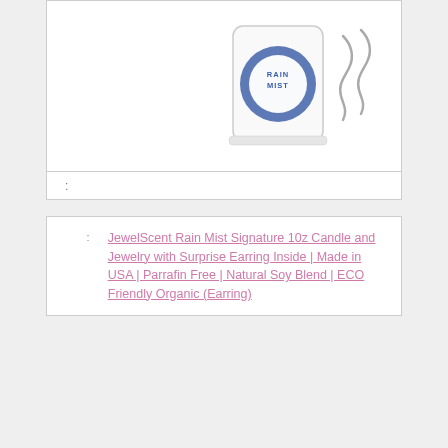[Figure (photo): JewelScent Rain Mist candle in glass jar with blue label, with two decorative spiral earrings beside it]
:
: JewelScent Rain Mist Signature 10z Candle and Jewelry with Surprise Earring Inside | Made in USA | Parrafin Free | Natural Soy Blend | ECO Friendly Organic (Earring)
: $23.99
[Figure (logo): Amazon seller logo partial]
: Buy On Amazon
: 5
[Figure (photo): Black square product box]